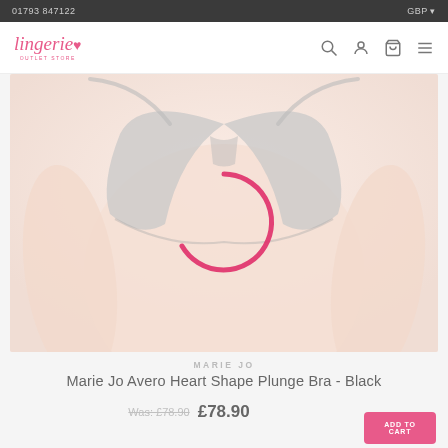01793 847122 | GBP
Lingerie Outlet Store
[Figure (photo): Product photo of Marie Jo Avero Heart Shape Plunge Bra in Black (grey/nude tone), shown on a model's torso with a loading spinner overlay in pink]
MARIE JO
Marie Jo Avero Heart Shape Plunge Bra - Black
Was: £78.90